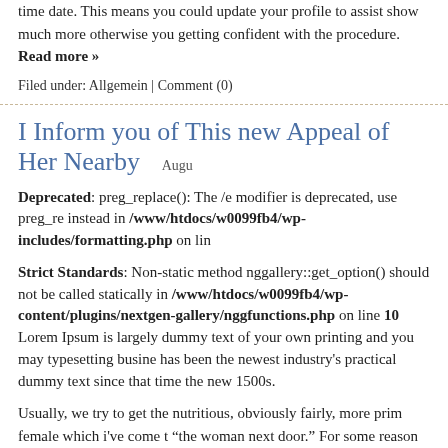time date. This means you could update your profile to assist show much more otherwise you getting confident with the procedure. Read more »
Filed under: Allgemein | Comment (0)
I Inform you of This new Appeal of Her Nearby
August
Deprecated: preg_replace(): The /e modifier is deprecated, use preg_replace instead in /www/htdocs/w0099fb4/wp-includes/formatting.php on line
Strict Standards: Non-static method nggallery::get_option() should not be called statically in /www/htdocs/w0099fb4/wp-content/plugins/nextgen-gallery/nggfunctions.php on line 10
Lorem Ipsum is largely dummy text of your own printing and you may typesetting business has been the newest industry's practical dummy text since that time the new 1500s.
Usually, we try to get the nutritious, obviously fairly, more prim female which i've come to “the woman next door.” For some reason she embodies all of our more mature and you instincts: relationships, family and you will sensitive company. The main disimilarity inside fact that the lady properties are merely since the important to united states as the their look
Although mil-money question is: does she indeed exist or has got the collective men mind in order to getting an close to impossible dream? Let's realize why this off-home cutie is c and find out that which you we could possibly do to make sure or debunk brand new misc